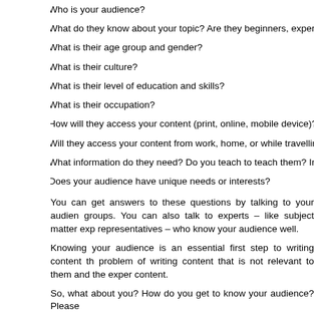» Who is your audience?
» What do they know about your topic? Are they beginners, experts or s
» What is their age group and gender?
» What is their culture?
» What is their level of education and skills?
» What is their occupation?
» How will they access your content (print, online, mobile device)?
» Will they access your content from work, home, or while travelling?
» What information do they need? Do you teach to teach them? Inform
» Does your audience have unique needs or interests?
You can get answers to these questions by talking to your audien groups. You can also talk to experts – like subject matter exp representatives – who know your audience well.
Knowing your audience is an essential first step to writing content th problem of writing content that is not relevant to them and the exper content.
So, what about you? How do you get to know your audience? Please
Tags: article, audience, blog, blogging, book, content, ebook, news